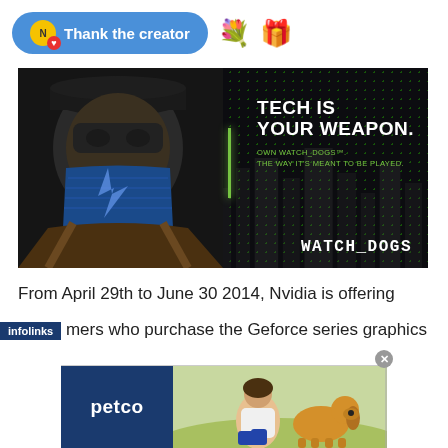[Figure (screenshot): Blue rounded button with coin icon and heart, labeled 'Thank the creator', with flower bouquet and gift box emojis to the right]
[Figure (photo): Watch Dogs game promotional banner showing a masked character on the left and text 'TECH IS YOUR WEAPON. OWN WATCH_DOGS. THE WAY IT'S MEANT TO BE PLAYED.' on dark background with green dot pattern. Watch Dogs logo at bottom right.]
From April 29th to June 30 2014, Nvidia is offering gamers who purchase the Geforce series graphics
[Figure (screenshot): Petco advertisement banner showing petco logo on blue background and a woman with a golden retriever dog on grassy background]